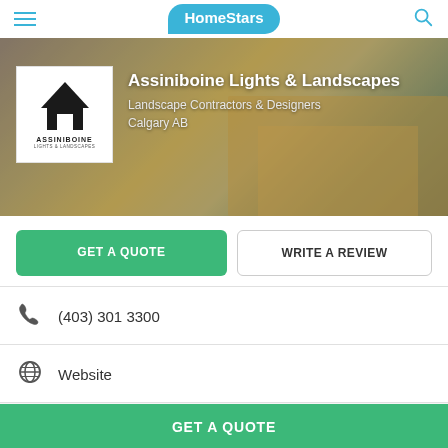HomeStars
[Figure (photo): Assiniboine Lights & Landscapes company logo (white box with house/mountain graphic) overlaid on a banner photo of a wooden deck/patio area]
Assiniboine Lights & Landscapes
Landscape Contractors & Designers
Calgary AB
GET A QUOTE
WRITE A REVIEW
(403) 301 3300
Website
HomeStars > Landscape Contractors & Designers > Assiniboine Lights & Landscapes
GET A QUOTE